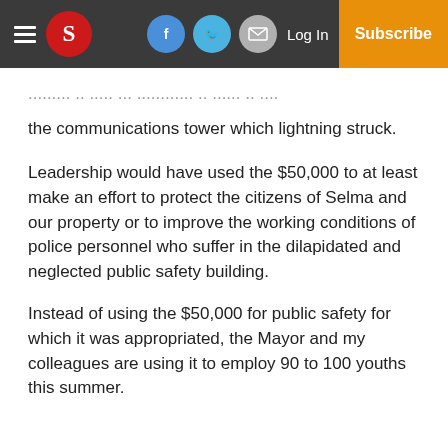Selma newspaper header with logo, social icons, Log In, and Subscribe button
...building in which the department is needed to repair the communications tower which lightning struck.
Leadership would have used the $50,000 to at least make an effort to protect the citizens of Selma and our property or to improve the working conditions of police personnel who suffer in the dilapidated and neglected public safety building.
Instead of using the $50,000 for public safety for which it was appropriated, the Mayor and my colleagues are using it to employ 90 to 100 youths this summer.